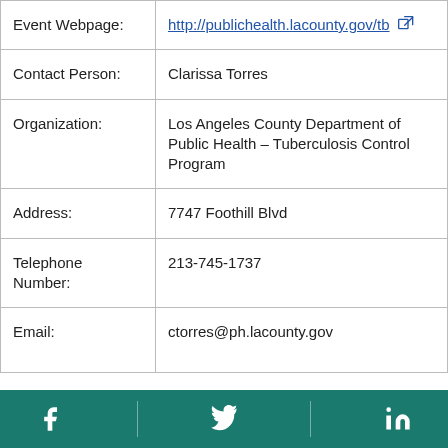| Event Webpage: | http://publichealth.lacounty.gov/tb [external link] |
| Contact Person: | Clarissa Torres |
| Organization: | Los Angeles County Department of Public Health – Tuberculosis Control Program |
| Address: | 7747 Foothill Blvd |
| Telephone Number: | 213-745-1737 |
| Email: | ctorres@ph.lacounty.gov |
Facebook | Twitter | LinkedIn